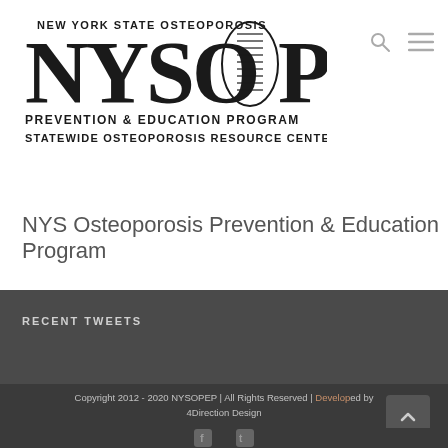[Figure (logo): NYSOPEP logo: New York State Osteoporosis Prevention & Education Program, Statewide Osteoporosis Resource Center]
NYS Osteoporosis Prevention & Education Program
RECENT TWEETS
Copyright 2012 - 2020 NYSOPEP | All Rights Reserved | Developed by 4Direction Design